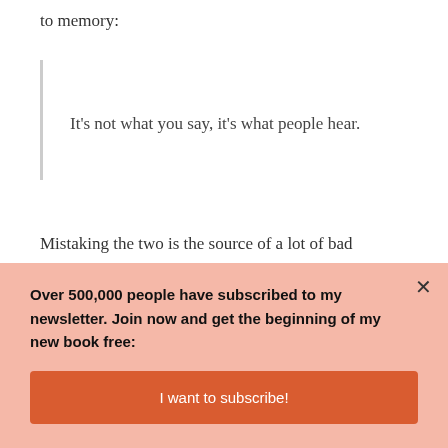to memory:
It's not what you say, it's what people hear.
Mistaking the two is the source of a lot of bad conversations and strained relationships.
In his book, Lost Art of Listening, Michael P.
Over 500,000 people have subscribed to my newsletter. Join now and get the beginning of my new book free:
I want to subscribe!